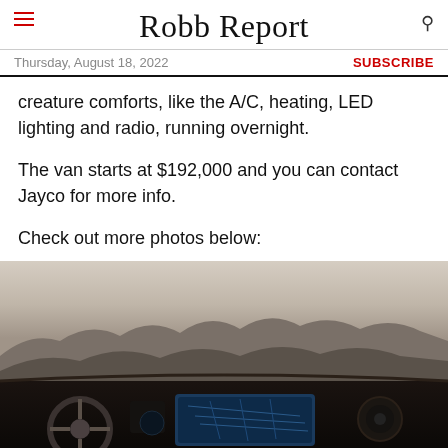Robb Report
Thursday, August 18, 2022
SUBSCRIBE
creature comforts, like the A/C, heating, LED lighting and radio, running overnight.
The van starts at $192,000 and you can contact Jayco for more info.
Check out more photos below:
[Figure (photo): Interior dashboard view of a luxury van showing steering wheel, center touchscreen with navigation map, and a desert mountain landscape through the windshield]
[Figure (photo): Advertisement banner: Robb Report Culinary Masters, October 7-10, 2022, Waldorf Astoria Los Cabos Pedregal]